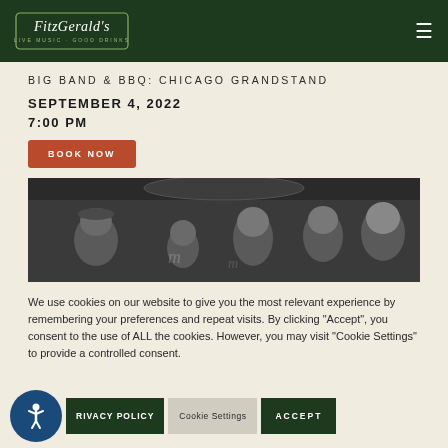FitzGerald's Live Music · Good Drinks
BIG BAND & BBQ: CHICAGO GRANDSTAND
SEPTEMBER 4, 2022
7:00 PM
BOOK NOW
[Figure (photo): Black and white photo of a group of people at FitzGerald's venue, smiling, with decorative backdrop]
We use cookies on our website to give you the most relevant experience by remembering your preferences and repeat visits. By clicking "Accept", you consent to the use of ALL the cookies. However, you may visit "Cookie Settings" to provide a controlled consent.
PRIVACY POLICY
Cookie Settings
ACCEPT